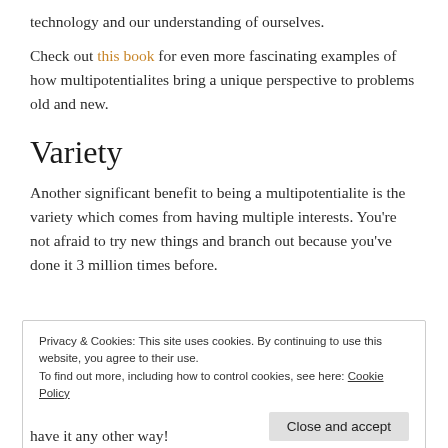technology and our understanding of ourselves.
Check out this book for even more fascinating examples of how multipotentialites bring a unique perspective to problems old and new.
Variety
Another significant benefit to being a multipotentialite is the variety which comes from having multiple interests. You’re not afraid to try new things and branch out because you’ve done it 3 million times before.
Privacy & Cookies: This site uses cookies. By continuing to use this website, you agree to their use.
To find out more, including how to control cookies, see here: Cookie Policy
have it any other way!